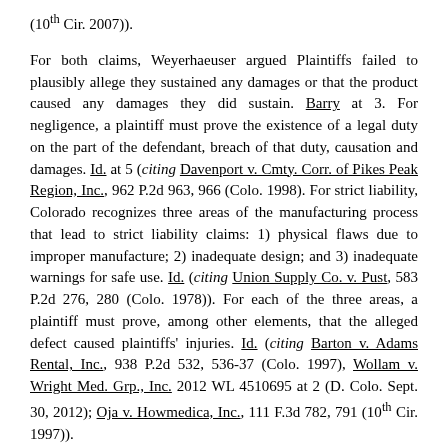(10th Cir. 2007)).
For both claims, Weyerhaeuser argued Plaintiffs failed to plausibly allege they sustained any damages or that the product caused any damages they did sustain. Barry at 3. For negligence, a plaintiff must prove the existence of a legal duty on the part of the defendant, breach of that duty, causation and damages. Id. at 5 (citing Davenport v. Cmty. Corr. of Pikes Peak Region, Inc., 962 P.2d 963, 966 (Colo. 1998). For strict liability, Colorado recognizes three areas of the manufacturing process that lead to strict liability claims: 1) physical flaws due to improper manufacture; 2) inadequate design; and 3) inadequate warnings for safe use. Id. (citing Union Supply Co. v. Pust, 583 P.2d 276, 280 (Colo. 1978)). For each of the three areas, a plaintiff must prove, among other elements, that the alleged defect caused plaintiffs' injuries. Id. (citing Barton v. Adams Rental, Inc., 938 P.2d 532, 536-37 (Colo. 1997), Wollam v. Wright Med. Grp., Inc. 2012 WL 4510695 at 2 (D. Colo. Sept. 30, 2012); Oja v. Howmedica, Inc., 111 F.3d 782, 791 (10th Cir. 1997)).
Magistrate Varholak noted that Weyerhaeuser itself recognized the dangers from the defective joists and instructed homeowners to